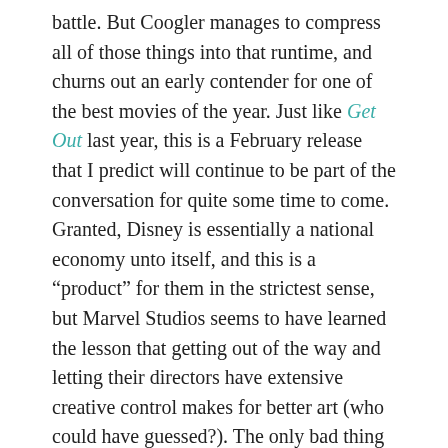battle. But Coogler manages to compress all of those things into that runtime, and churns out an early contender for one of the best movies of the year. Just like Get Out last year, this is a February release that I predict will continue to be part of the conversation for quite some time to come. Granted, Disney is essentially a national economy unto itself, and this is a "product" for them in the strictest sense, but Marvel Studios seems to have learned the lesson that getting out of the way and letting their directors have extensive creative control makes for better art (who could have guessed?). The only bad thing about creating a movie with so many rich layers and elements is that it's almost impossible to decide where to begin discussion.
First things first: I can see why this movie is making